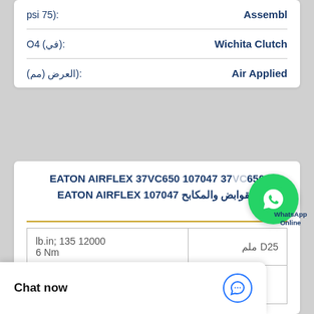| Label | Value |
| --- | --- |
| Assembl | :(75 psi |
| Wichita Clutch | :(في) O4 |
| Air Applied | :(العرض (مم |
EATON AIRFLEX 37VC650 107047 37VC650 107047 EATON AIRFLEX القوابض والمكابح
وصف
|  |  |
| --- | --- |
| lb.in; 135 12000 6 Nm | D25 ملم |